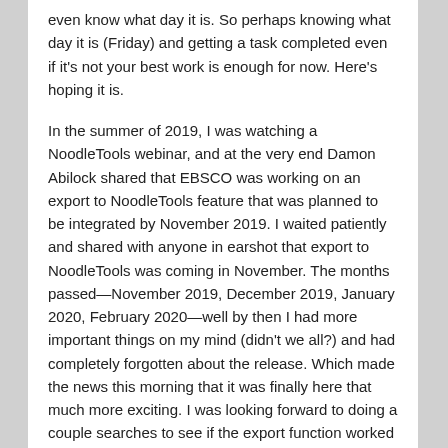even know what day it is. So perhaps knowing what day it is (Friday) and getting a task completed even if it's not your best work is enough for now. Here's hoping it is.
In the summer of 2019, I was watching a NoodleTools webinar, and at the very end Damon Abilock shared that EBSCO was working on an export to NoodleTools feature that was planned to be integrated by November 2019. I waited patiently and shared with anyone in earshot that export to NoodleTools was coming in November. The months passed—November 2019, December 2019, January 2020, February 2020—well by then I had more important things on my mind (didn't we all?) and had completely forgotten about the release. Which made the news this morning that it was finally here that much more exciting. I was looking forward to doing a couple searches to see if the export function worked as well as I hoped.
Information is Exported, NOT Copied
An important thing to keep in mind is that when a citation is exported into NoodleTools, it isn't simply copied and